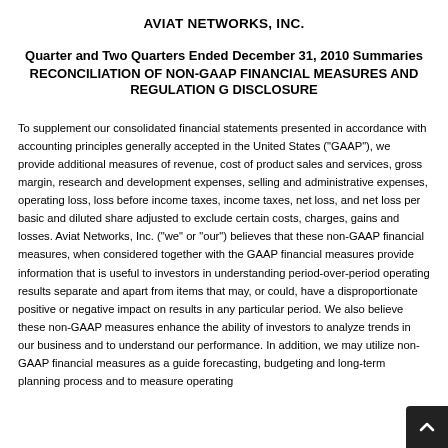AVIAT NETWORKS, INC.
Quarter and Two Quarters Ended December 31, 2010 Summaries
RECONCILIATION OF NON-GAAP FINANCIAL MEASURES AND REGULATION G DISCLOSURE
To supplement our consolidated financial statements presented in accordance with accounting principles generally accepted in the United States ("GAAP"), we provide additional measures of revenue, cost of product sales and services, gross margin, research and development expenses, selling and administrative expenses, operating loss, loss before income taxes, income taxes, net loss, and net loss per basic and diluted share adjusted to exclude certain costs, charges, gains and losses. Aviat Networks, Inc. ("we" or "our") believes that these non-GAAP financial measures, when considered together with the GAAP financial measures provide information that is useful to investors in understanding period-over-period operating results separate and apart from items that may, or could, have a disproportionate positive or negative impact on results in any particular period. We also believe these non-GAAP measures enhance the ability of investors to analyze trends in our business and to understand our performance. In addition, we may utilize non-GAAP financial measures as a guide forecasting, budgeting and long-term planning process and to measure operating